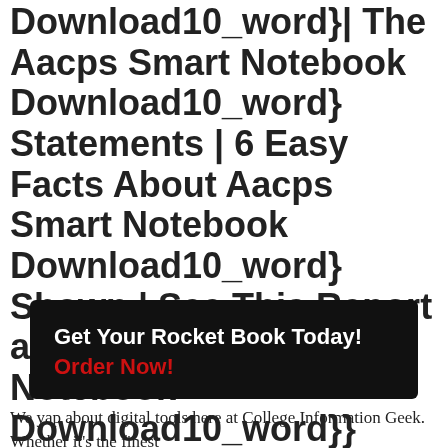Download10_word}| The Aacps Smart Notebook Download10_word} Statements | 6 Easy Facts About Aacps Smart Notebook Download10_word} Shown | See This Report about Aacps Smart Notebook Download10_word}}
Get Your Rocket Book Today! Order Now!
We yap about digital tools here at College Information Geek. Whether it's the finest